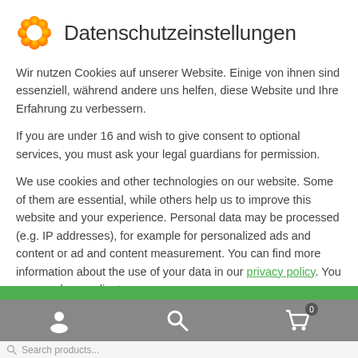Datenschutzeinstellungen
Wir nutzen Cookies auf unserer Website. Einige von ihnen sind essenziell, während andere uns helfen, diese Website und Ihre Erfahrung zu verbessern.
If you are under 16 and wish to give consent to optional services, you must ask your legal guardians for permission.
We use cookies and other technologies on our website. Some of them are essential, while others help us to improve this website and your experience. Personal data may be processed (e.g. IP addresses), for example for personalized ads and content or ad and content measurement. You can find more information about the use of your data in our privacy policy. You can revoke or adjust your
Essenziell
Externe Medien
Ich akzentiere